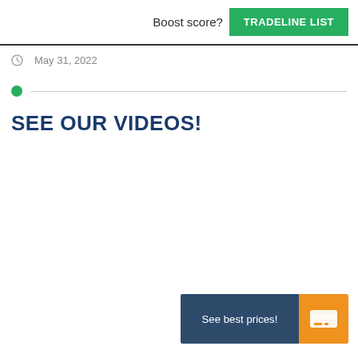Boost score? TRADELINE LIST
May 31, 2022
SEE OUR VIDEOS!
[Figure (other): Banner advertisement with 'See best prices!' text and credit card icon on orange background]